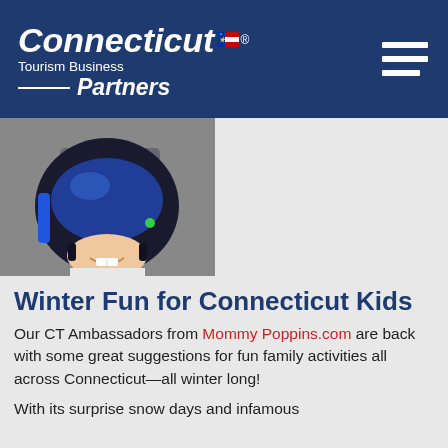Connecticut Tourism Business Partners
[Figure (photo): Child wearing a large motorcycle/racing helmet, smiling, photographed from below]
Winter Fun for Connecticut Kids
Our CT Ambassadors from MommyPoppins.com are back with some great suggestions for fun family activities all across Connecticut—all winter long!
With its surprise snow days and infamous